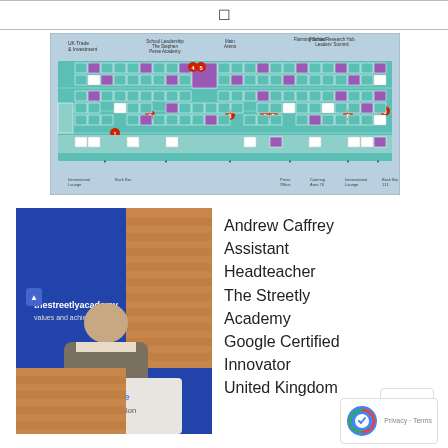□
[Figure (other): Floor plan / exhibition hall map showing booth layouts with teal, purple and white sections, numbered locations, and various labels including UK Trade & Investment and other exhibitor names]
[Figure (photo): Photo of Andrew Caffrey speaking at a podium with Google for Education branding, in front of a blue screen showing 'thestreetlyacademy values and achievement']
Andrew Caffrey
Assistant
Headteacher
The Streetly
Academy
Google Certified
Innovator
United Kingdom